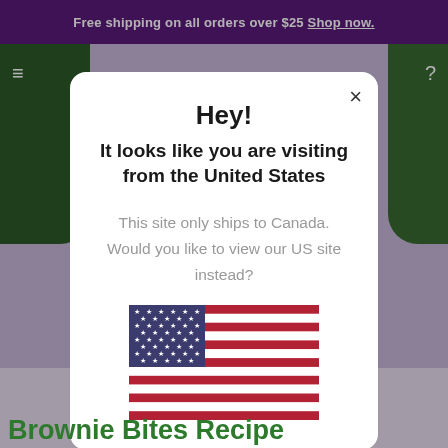Free shipping on all orders over $25 Shop now.
Hey!
It looks like you are visiting from the United States
This site only ships to Canada. Would you like to view our US site instead?
[Figure (illustration): American flag (United States flag) with blue canton with white stars and red and white horizontal stripes]
Brownie Bites Recipe